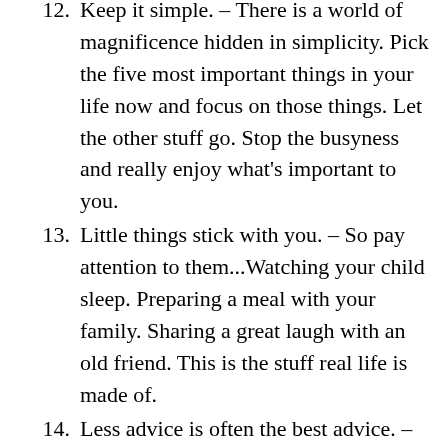12. Keep it simple. – There is a world of magnificence hidden in simplicity. Pick the five most important things in your life now and focus on those things. Let the other stuff go. Stop the busyness and really enjoy what's important to you.
13. Little things stick with you. – So pay attention to them...Watching your child sleep. Preparing a meal with your family. Sharing a great laugh with an old friend. This is the stuff real life is made of.
14. Less advice is often the best advice. – People don't need lots of advice. They need to live. They need to see others that have lived well so they can learn from their lives. Your life stories, like the